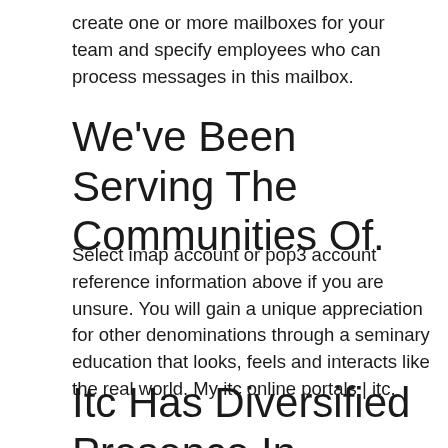create one or more mailboxes for your team and specify employees who can process messages in this mailbox.
We've Been Serving The Communities Of.
Select imap account or pop3 account reference information above if you are unsure. You will gain a unique appreciation for other denominations through a seminary education that looks, feels and interacts like the real world. My itc online portals | itc.
Itc Has Diversified Presence In Branded